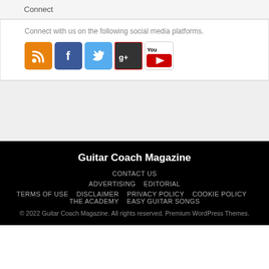Connect
Connect with us on the following social media platforms.
[Figure (illustration): Row of social media icons: RSS (orange), Facebook (blue), Twitter (light blue), Google+ (dark), YouTube (white/red)]
Guitar Coach Magazine
CONTACT US   ADVERTISING   EDITORIAL   TERMS OF USE   DISCLAIMER   PRIVACY POLICY   COOKIE POLICY   THE ACADEMY   EASY GUITAR SONGS   © 2022 Guitar Coach Magazine. All rights reserved. Premium WordPress Themes.